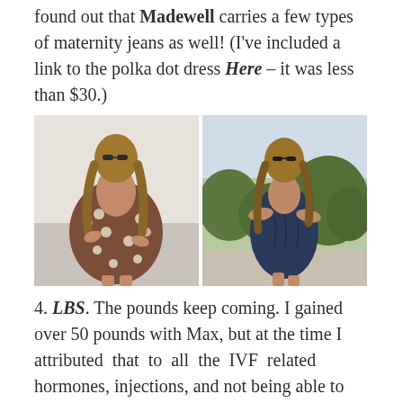found out that Madewell carries a few types of maternity jeans as well! (I've included a link to the polka dot dress Here – it was less than $30.)
[Figure (photo): Two side-by-side photos of a pregnant woman. Left photo: woman wearing a brown polka dot wrap dress, holding her belly. Right photo: woman wearing a navy blue ruched maternity dress outdoors.]
4. LBS. The pounds keep coming. I gained over 50 pounds with Max, but at the time I attributed that to all the IVF related hormones, injections, and not being able to